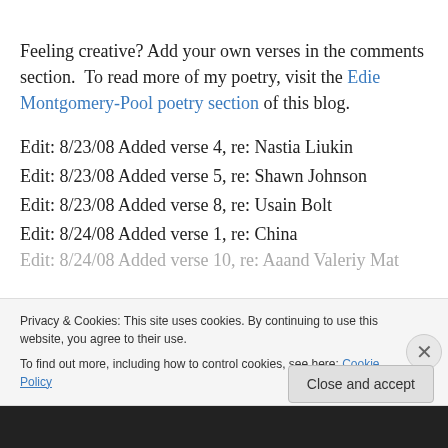Feeling creative? Add your own verses in the comments section.  To read more of my poetry, visit the Edie Montgomery-Pool poetry section of this blog.
Edit: 8/23/08 Added verse 4, re: Nastia Liukin
Edit: 8/23/08 Added verse 5, re: Shawn Johnson
Edit: 8/23/08 Added verse 8, re: Usain Bolt
Edit: 8/24/08 Added verse 1, re: China
Edit: 8/24/08 Added verse 10, re: Aaand Valeriy Mat... (partial, cut off)
Privacy & Cookies: This site uses cookies. By continuing to use this website, you agree to their use.
To find out more, including how to control cookies, see here: Cookie Policy
Close and accept